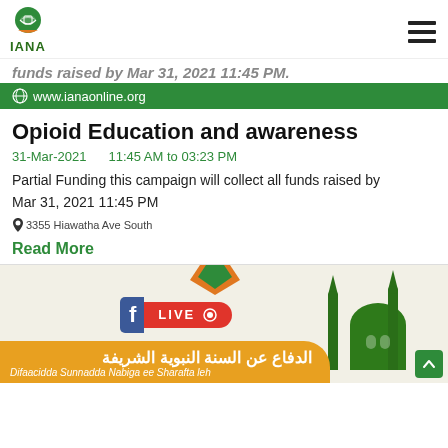IANA
funds raised by Mar 31, 2021 11:45 PM.
www.ianaonline.org
Opioid Education and awareness
31-Mar-2021   11:45 AM to 03:23 PM
Partial Funding this campaign will collect all funds raised by Mar 31, 2021 11:45 PM
3355 Hiawatha Ave South
Read More
[Figure (infographic): Bottom banner with Facebook LIVE badge, mosque silhouette, orange Arabic text banner reading 'الدفاع عن السنة النبوية الشريفة' and 'Difaacidda Sunnadda Nabiga ee Sharafta leh']